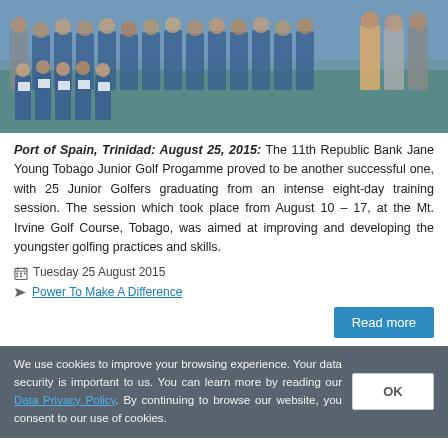[Figure (photo): Group photo of approximately 25 junior golfers and staff/administrators posing together, many wearing blue shirts, holding certificates or signs, with greenery in the background.]
Port of Spain, Trinidad: August 25, 2015: The 11th Republic Bank Jane Young Tobago Junior Golf Progamme proved to be another successful one, with 25 Junior Golfers graduating from an intense eight-day training session. The session which took place from August 10 – 17, at the Mt. Irvine Golf Course, Tobago, was aimed at improving and developing the youngster golfing practices and skills.
Tuesday 25 August 2015
Power To Make A Difference
Read more
We use cookies to improve your browsing experience. Your data security is important to us. You can learn more by reading our Data Privacy Policy. By continuing to browse our website, you consent to our use of cookies.